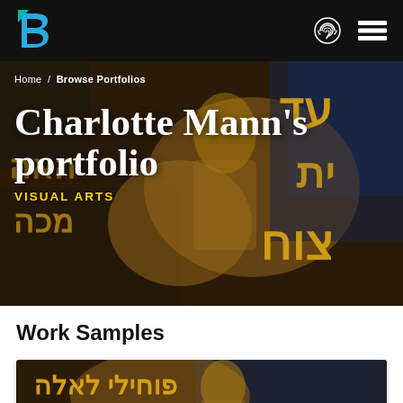Charlotte Mann's portfolio — Visual Arts portfolio website header with logo, fingerprint icon, and menu
Home / Browse Portfolios
Charlotte Mann's portfolio
VISUAL ARTS
Work Samples
[Figure (photo): Painting with Hebrew letters in golden/yellow on a dark brown and blue background, showing a robed figure. Part of work samples section.]